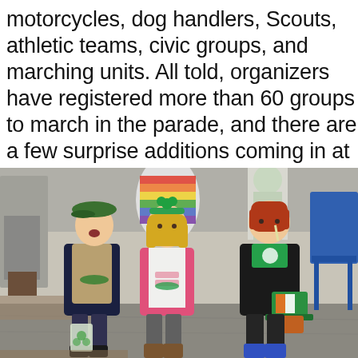motorcycles, dog handlers, Scouts, athletic teams, civic groups, and marching units. All told, organizers have registered more than 60 groups to march in the parade, and there are a few surprise additions coming in at the last minute, Keogh said.
[Figure (photo): Three young children dressed in St. Patrick's Day themed outfits standing on a pavement. The child on the left wears a green flat cap and carries a bag of green candy. The middle child is a girl in a pink jacket with a green shamrock headband. The child on the right has red hair, wears a black coat with a green shamrock scarf, and holds a green St. Patrick's Day hat. Parade spectators and a blue folding chair are visible in the background.]